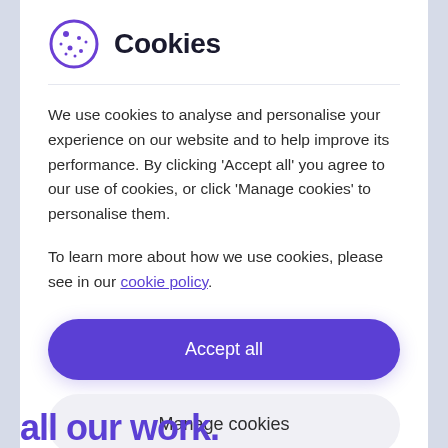Cookies
We use cookies to analyse and personalise your experience on our website and to help improve its performance. By clicking ‘Accept all’ you agree to our use of cookies, or click ‘Manage cookies’ to personalise them.
To learn more about how we use cookies, please see in our cookie policy.
Accept all
Manage cookies
all our work.